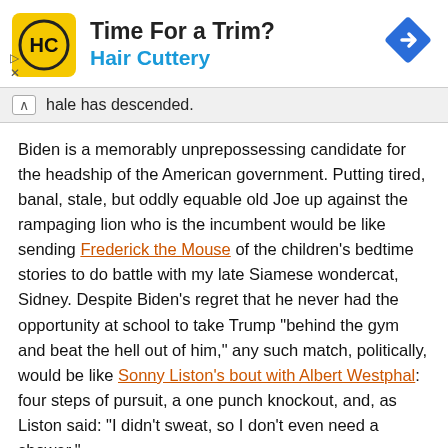[Figure (other): Hair Cuttery advertisement banner with yellow logo, 'Time For a Trim?' heading, 'Hair Cuttery' subtitle in blue, and a blue diamond arrow icon on the right]
hale has descended.
Biden is a memorably unprepossessing candidate for the headship of the American government. Putting tired, banal, stale, but oddly equable old Joe up against the rampaging lion who is the incumbent would be like sending Frederick the Mouse of the children's bedtime stories to do battle with my late Siamese wondercat, Sidney. Despite Biden's regret that he never had the opportunity at school to take Trump "behind the gym and beat the hell out of him," any such match, politically, would be like Sonny Liston's bout with Albert Westphal: four steps of pursuit, a one punch knockout, and, as Liston said: "I didn't sweat, so I don't even need a shower."
To a slight extent, there has been a move away from the minefield of policy disaster areas mentioned in the second